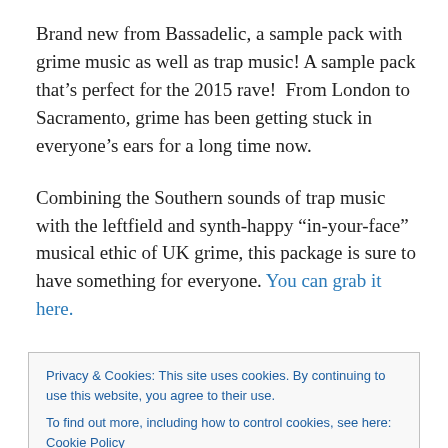Brand new from Bassadelic, a sample pack with grime music as well as trap music! A sample pack that's perfect for the 2015 rave!  From London to Sacramento, grime has been getting stuck in everyone's ears for a long time now.
Combining the Southern sounds of trap music with the leftfield and synth-happy “in-your-face” musical ethic of UK grime, this package is sure to have something for everyone. You can grab it here.
Privacy & Cookies: This site uses cookies. By continuing to use this website, you agree to their use.
To find out more, including how to control cookies, see here: Cookie Policy
[Close and accept]
With piles upon piles of trap drum samples, grimey